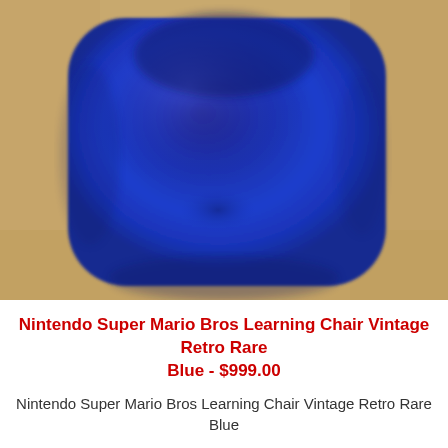[Figure (photo): Close-up photo of a blue cushioned chair seat with a rounded square shape, resting on a tan/cork-textured surface. The cushion is a deep royal blue with slight sheen and a small indentation visible near the center-bottom.]
Nintendo Super Mario Bros Learning Chair Vintage Retro Rare Blue - $999.00
Nintendo Super Mario Bros Learning Chair Vintage Retro Rare Blue